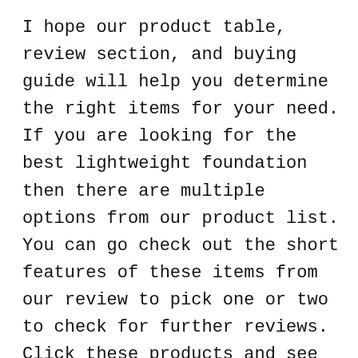I hope our product table, review section, and buying guide will help you determine the right items for your need. If you are looking for the best lightweight foundation then there are multiple options from our product list. You can go check out the short features of these items from our review to pick one or two to check for further reviews. Click these products and see the reviews of the customers, description of the products, and rating of it to make a final decision for